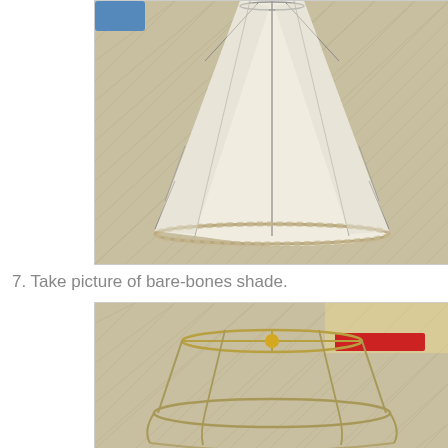[Figure (photo): Close-up photo of a lampshade with cream/white fabric panels and visible metal wire frame, sitting on a patterned fabric surface. The shade is bell-shaped with a braided trim ring at the bottom.]
7. Take picture of bare-bones shade.
[Figure (photo): Photo of a bare metal lampshade wire frame (without fabric) sitting on a patterned fabric surface. The frame shows the circular rings and vertical struts, with a gold spider fitter in the center top.]